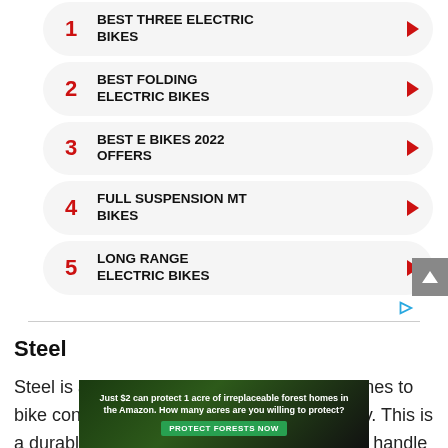1 BEST THREE ELECTRIC BIKES
2 BEST FOLDING ELECTRIC BIKES
3 BEST E BIKES 2022 OFFERS
4 FULL SUSPENSION MT BIKES
5 LONG RANGE ELECTRIC BIKES
Steel
Steel is another popular material when it comes to bike construction and it's not hard to see why. This is a durable and strong material that can easily handle different types of terrains.
[Figure (other): Advertisement banner: 'Just $2 can protect 1 acre of irreplaceable forest homes in the Amazon. How many acres are you willing to protect?' with a green 'PROTECT FORESTS NOW' button, forest imagery background.]